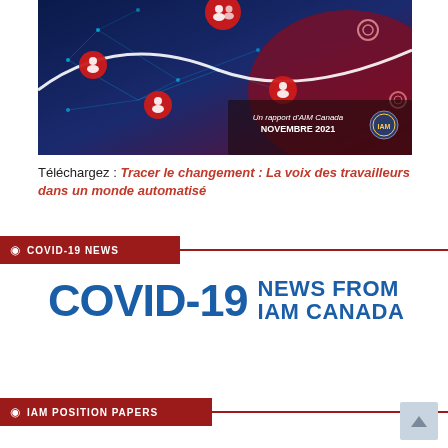[Figure (illustration): Digital network illustration with red glowing person/group icons connected by blue lines on a dark blue/purple background, with a white curved wave. Bottom right shows 'Un rapport d'AIM Canada NOVEMBRE 2021' with a circular logo.]
Téléchargez : Tracer le changement : La voix des travailleurs dans un monde automatisé
COVID-19 NEWS
COVID-19 NEWS FROM IAM CANADA
IAM POSITION PAPERS